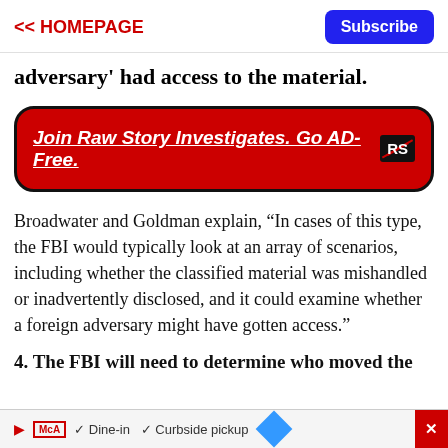<< HOMEPAGE | Subscribe
adversary' had access to the material.
[Figure (infographic): Red rounded-rectangle banner ad: 'Join Raw Story Investigates. Go AD-Free.' with RS logo]
Broadwater and Goldman explain, "In cases of this type, the FBI would typically look at an array of scenarios, including whether the classified material was mishandled or inadvertently disclosed, and it could examine whether a foreign adversary might have gotten access."
4. The FBI will need to determine who moved the
[Figure (infographic): Advertisement footer bar with McAl logo, Dine-in, Curbside pickup text and arrow icon, with red X close button]